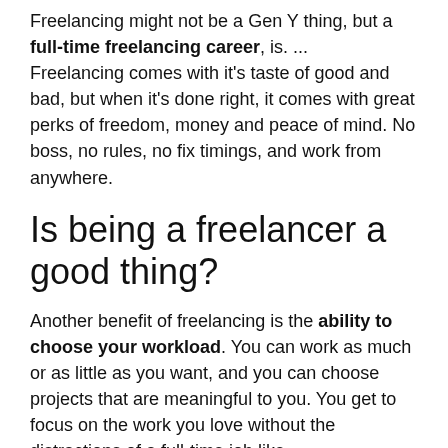Freelancing might not be a Gen Y thing, but a full-time freelancing career, is. ... Freelancing comes with it's taste of good and bad, but when it's done right, it comes with great perks of freedom, money and peace of mind. No boss, no rules, no fix timings, and work from anywhere.
Is being a freelancer a good thing?
Another benefit of freelancing is the ability to choose your workload. You can work as much or as little as you want, and you can choose projects that are meaningful to you. You get to focus on the work you love without the distractions of a full-time job like...